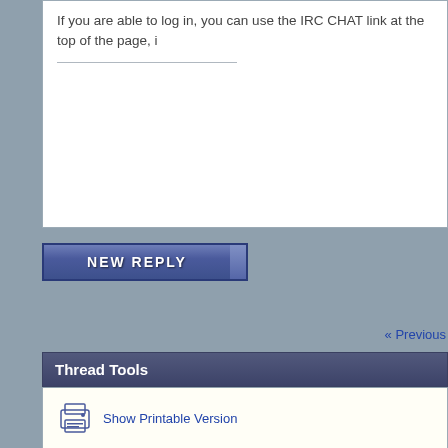If you are able to log in, you can use the IRC CHAT link at the top of the page, i
NEW REPLY
« Previous
Thread Tools
Show Printable Version
Email this Page
Posting Rules
You may not post new threads
You may not post replies
You may not post attachments
You may not edit your posts
BB code is On
Smilies are On
[IMG] code is On
HTML code is Off
Forum Rules